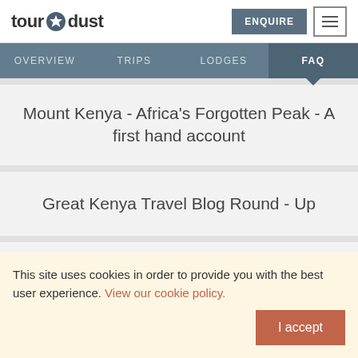tour dust — ENQUIRE [menu]
OVERVIEW   TRIPS   LODGES   FAQ
Mount Kenya - Africa's Forgotten Peak - A first hand account
Great Kenya Travel Blog Round - Up
The best of Kenya
This site uses cookies in order to provide you with the best user experience. View our cookie policy.